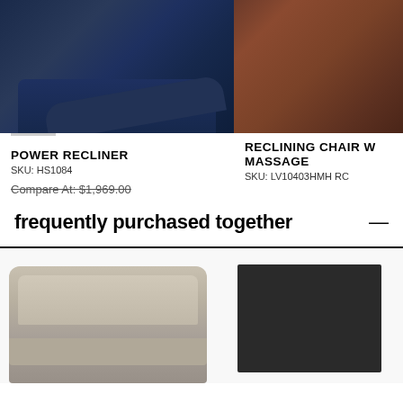[Figure (photo): Navy blue power recliner chair, reclined position, photographed from front-left angle]
[Figure (photo): Brown reclining chair with massage, partially visible, cropped on right side]
POWER RECLINER
SKU: HS1084
Compare At: $1,969.00
Van Hill Price: $1,428.00
SHOP MORE RECLINER - THREE WAY
RECLINING CHAIR W MASSAGE
SKU: LV10403HMH RC
frequently purchased together
[Figure (photo): Gray leather loveseat recliner sofa, front view]
[Figure (photo): Dark charcoal/black area rug, rectangular]